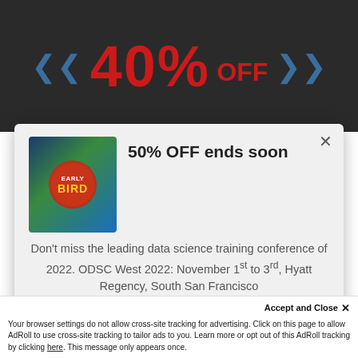[Figure (illustration): Dark background banner showing '40% OFF' in large red text with blue chevron arrows on each side]
50% OFF ends soon
[Figure (logo): Early Bird conference badge image with blue/green background and red circle with 'EARLY BIRD' text]
Don't miss the leading data science training conference of 2022. ODSC West 2022: November 1st to 3rd, Hyatt Regency, South San Francisco
For VIRTUAL passes please check HERE. For IN-PERSON passes please click below.
REGISTER NOW
Accept and Close ×
Your browser settings do not allow cross-site tracking for advertising. Click on this page to allow AdRoll to use cross-site tracking to tailor ads to you. Learn more or opt out of this AdRoll tracking by clicking here. This message only appears once.